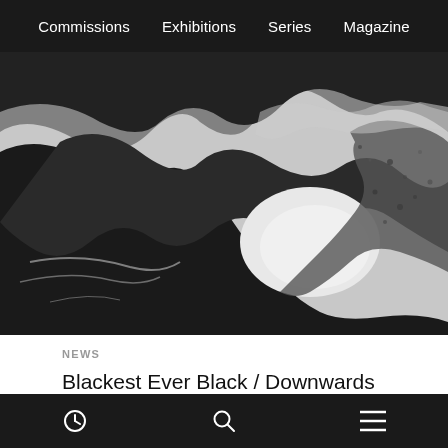Commissions  Exhibitions  Series  Magazine
[Figure (photo): Black and white abstract photograph showing dark ink or paint swirling shapes against a white background, resembling geological or organic forms]
NEWS
Blackest Ever Black / Downwards update: win limited screen print and vinyl, new releases from Barnett & Coloccia, Regis & Veronica Vasicka
clock icon  search icon  menu icon